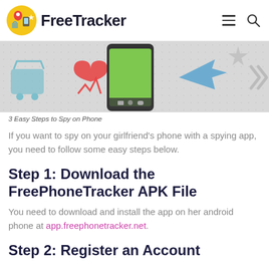FreeTracker
[Figure (illustration): Hero banner showing mobile phone with green screen surrounded by app icons including shopping cart, health monitor, airplane, and star on a light gray background.]
3 Easy Steps to Spy on Phone
If you want to spy on your girlfriend's phone with a spying app, you need to follow some easy steps below.
Step 1: Download the FreePhoneTracker APK File
You need to download and install the app on her android phone at app.freephonetracker.net.
Step 2: Register an Account